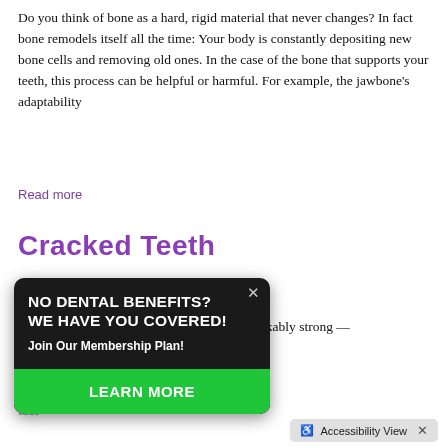Do you think of bone as a hard, rigid material that never changes? In fact bone remodels itself all the time: Your body is constantly depositing new bone cells and removing old ones. In the case of the bone that supports your teeth, this process can be helpful or harmful. For example, the jawbone's adaptability
Read more
Cracked Teeth
Category: Endodontics
[Figure (infographic): Popup advertisement with dark background. Headline: NO DENTAL BENEFITS? WE HAVE YOU COVERED! Subtext: Join Our Membership Plan! Green button: LEARN MORE. Close button (X) in top right.]
protected by an outer coating of tough enamel. Your teeth are remarkably strong — yet they can chip, crack, or even break. In fact, compared to today, our teeth are doing a job that. This may be due to the fact
Accessibility View X